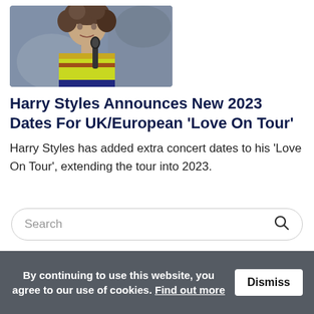[Figure (photo): Photo of Harry Styles, a young man with curly brown hair, wearing a striped colorful top, holding a microphone, with a blurred background.]
Harry Styles Announces New 2023 Dates For UK/European 'Love On Tour'
Harry Styles has added extra concert dates to his 'Love On Tour', extending the tour into 2023.
Search
By continuing to use this website, you agree to our use of cookies. Find out more Dismiss